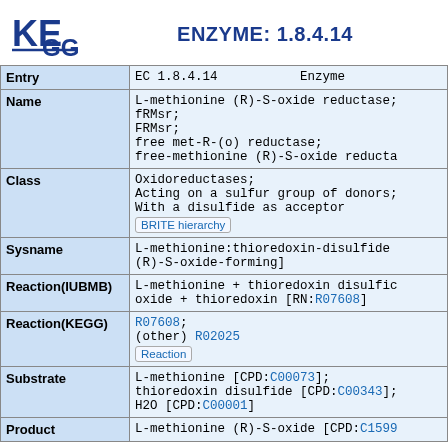ENZYME: 1.8.4.14
| Field | Value |
| --- | --- |
| Entry | EC 1.8.4.14   Enzyme |
| Name | L-methionine (R)-S-oxide reductase;
fRMsr;
FRMsr;
free met-R-(o) reductase;
free-methionine (R)-S-oxide reducta |
| Class | Oxidoreductases;
Acting on a sulfur group of donors;
With a disulfide as acceptor
[BRITE hierarchy] |
| Sysname | L-methionine:thioredoxin-disulfide
(R)-S-oxide-forming] |
| Reaction(IUBMB) | L-methionine + thioredoxin disulfide = L-methionine (R)-S-oxide + thioredoxin [RN:R07608] |
| Reaction(KEGG) | R07608;
(other) R02025
[Reaction] |
| Substrate | L-methionine [CPD:C00073];
thioredoxin disulfide [CPD:C00343];
H2O [CPD:C00001] |
| Product | L-methionine (R)-S-oxide [CPD:C1599 |